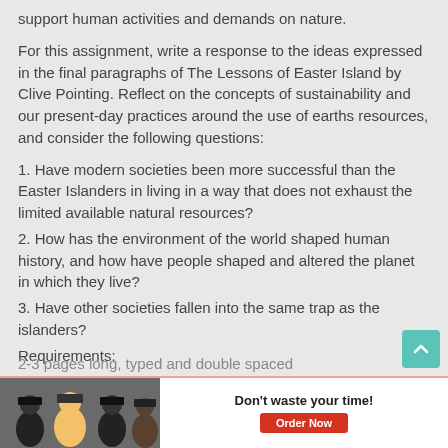support human activities and demands on nature.
For this assignment, write a response to the ideas expressed in the final paragraphs of The Lessons of Easter Island by Clive Pointing. Reflect on the concepts of sustainability and our present-day practices around the use of earths resources, and consider the following questions:
1. Have modern societies been more successful than the Easter Islanders in living in a way that does not exhaust the limited available natural resources?
2. How has the environment of the world shaped human history, and how have people shaped and altered the planet in which they live?
3. Have other societies fallen into the same trap as the islanders?
Requirements:
2-3 pages long, typed and double spaced
[Figure (screenshot): Advertisement banner with graduates photo, 'Don't waste your time!' headline and 'Order Now' button]